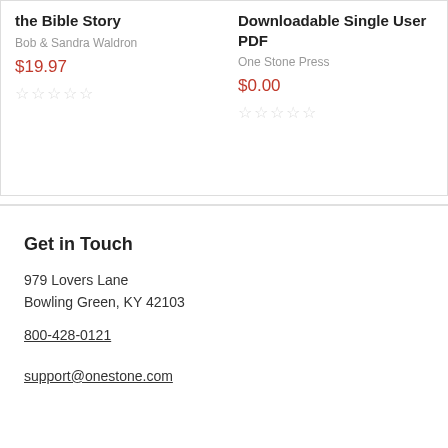the Bible Story
Bob & Sandra Waldron
$19.97
Downloadable Single User PDF
One Stone Press
$0.00
Get in Touch
979 Lovers Lane
Bowling Green, KY 42103
800-428-0121
support@onestone.com